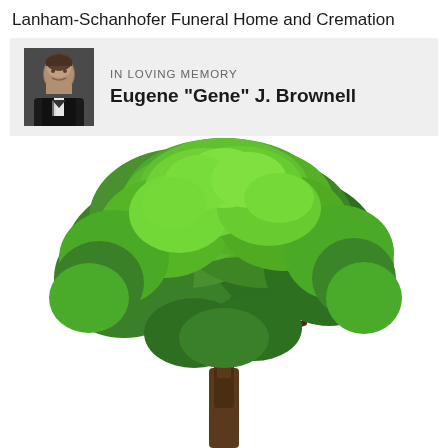Lanham-Schanhofer Funeral Home and Cremation
IN LOVING MEMORY
Eugene "Gene" J. Brownell
[Figure (photo): Portrait photo of Eugene Gene J. Brownell, a bearded man in a tuxedo]
[Figure (photo): Large green leafy tree with full canopy on a white background, symbolic memorial image]